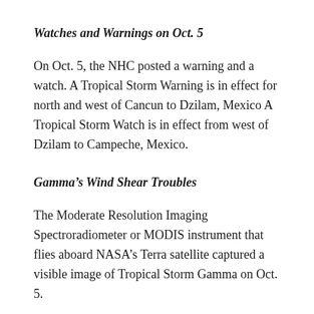Watches and Warnings on Oct. 5
On Oct. 5, the NHC posted a warning and a watch. A Tropical Storm Warning is in effect for north and west of Cancun to Dzilam, Mexico A Tropical Storm Watch is in effect from west of Dzilam to Campeche, Mexico.
Gamma’s Wind Shear Troubles
The Moderate Resolution Imaging Spectroradiometer or MODIS instrument that flies aboard NASA’s Terra satellite captured a visible image of Tropical Storm Gamma on Oct. 5.